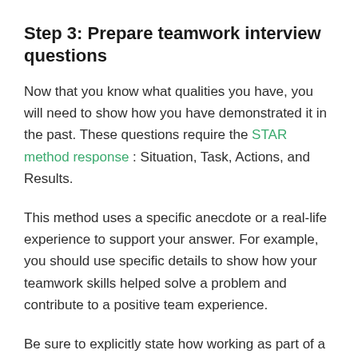Step 3: Prepare teamwork interview questions
Now that you know what qualities you have, you will need to show how you have demonstrated it in the past. These questions require the STAR method response : Situation, Task, Actions, and Results.
This method uses a specific anecdote or a real-life experience to support your answer. For example, you should use specific details to show how your teamwork skills helped solve a problem and contribute to a positive team experience.
Be sure to explicitly state how working as part of a